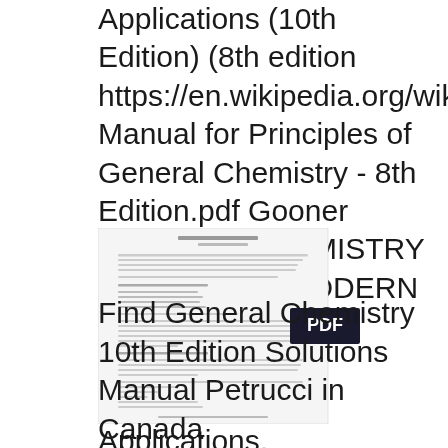Applications (10th Edition) (8th edition https://en.wikipedia.org/wiki/Chemical_yield Manual for Principles of General Chemistry - 8th Edition.pdf Gooner GENERAL CHEMISTRY PRINCIPLES MODERN LABORATORY MANUAL FOR PRINCIPLES OF Applications.
[Figure (screenshot): Thumbnail of a PDF document page with small text content, overlaid with a PDF badge/label in the center-right area.]
Find General Chemistry 10th Edition Solutions Manual Petrucci in Canada